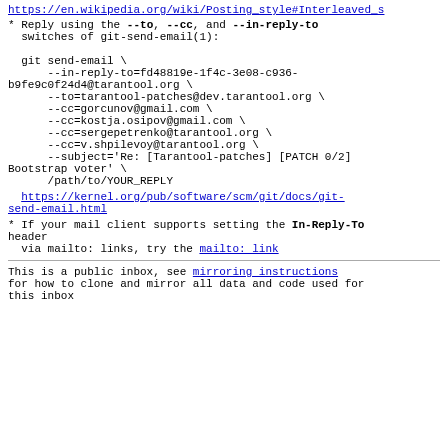https://en.wikipedia.org/wiki/Posting_style#Interleaved_s
* Reply using the --to, --cc, and --in-reply-to switches of git-send-email(1):

  git send-email \
      --in-reply-to=fd48819e-1f4c-3e08-c936-b9fe9c0f24d4@tarantool.org \
      --to=tarantool-patches@dev.tarantool.org \
      --cc=gorcunov@gmail.com \
      --cc=kostja.osipov@gmail.com \
      --cc=sergepetrenko@tarantool.org \
      --cc=v.shpilevoy@tarantool.org \
      --subject='Re: [Tarantool-patches] [PATCH 0/2] Bootstrap voter' \
      /path/to/YOUR_REPLY
https://kernel.org/pub/software/scm/git/docs/git-send-email.html
* If your mail client supports setting the In-Reply-To header
  via mailto: links, try the mailto: link
This is a public inbox, see mirroring instructions for how to clone and mirror all data and code used for this inbox